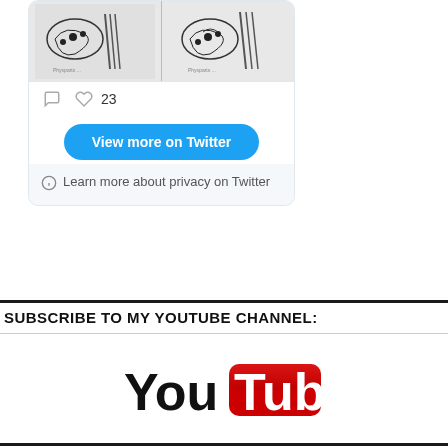[Figure (screenshot): Twitter/X embedded widget showing two sketch images of anatomy, with comment and like icons (23 likes), a 'View more on Twitter' blue button, and a privacy notice 'Learn more about privacy on Twitter']
SUBSCRIBE TO MY YOUTUBE CHANNEL:
[Figure (logo): YouTube logo - 'You' in black text followed by 'Tube' in white text on a red rounded rectangle badge]